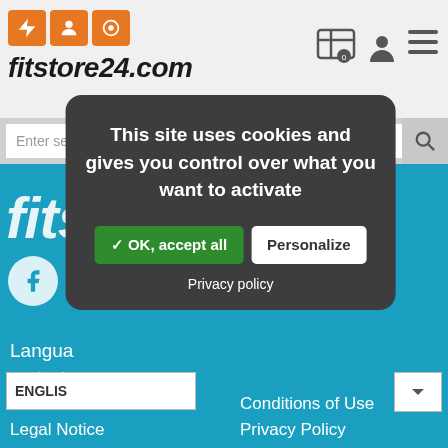[Figure (screenshot): fitstore24.com website header with logo, navigation icons, search bar, and blue background with partial website content visible]
This site uses cookies and gives you control over what you want to activate
✓ OK, accept all
Personalize
Privacy policy
Language
ENGLISH
content
Contact
Conditions of Use
Legal Notice
Privacy Policy